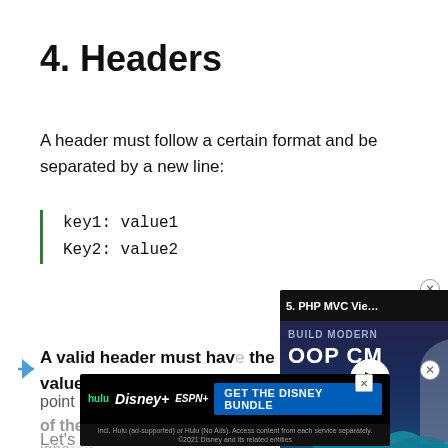4. Headers
A header must follow a certain format and be separated by a new line:
key1: value1
Key2: value2
A valid header must have the colon and the value, and an important point is there must be a new line at the end of the file. Otherwise, the last header is ignored.
Let's look at some examples from the specification and some common
[Figure (screenshot): Video overlay: '5. PHP MVC Vie...' - BUILD MODERN OOP CM... 5. VIEW with play button and php badge]
[Figure (screenshot): Disney bundle advertisement with hulu, Disney+, ESPN+ logos and GET THE DISNEY BUNDLE CTA]